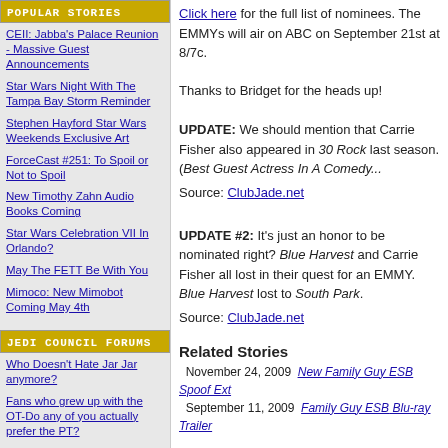POPULAR STORIES
CEII: Jabba's Palace Reunion - Massive Guest Announcements
Star Wars Night With The Tampa Bay Storm Reminder
Stephen Hayford Star Wars Weekends Exclusive Art
ForceCast #251: To Spoil or Not to Spoil
New Timothy Zahn Audio Books Coming
Star Wars Celebration VII In Orlando?
May The FETT Be With You
Mimoco: New Mimobot Coming May 4th
JEDI COUNCIL FORUMS
Who Doesn't Hate Jar Jar anymore?
Fans who grew up with the OT-Do any of you actually prefer the PT?
Should darth maul have died?
What plotline, character or...
Click here for the full list of nominees. The EMMYs will air on ABC on September 21st at 8/7c.
Thanks to Bridget for the heads up!
UPDATE: We should mention that Carrie Fisher also appeared in 30 Rock last season. (Best Guest Actress In A Comedy...)
Source: ClubJade.net
UPDATE #2: It's just an honor to be nominated right? Blue Harvest and Carrie Fisher all lost in their quest for an EMMY. Blue Harvest lost to South Park.
Source: ClubJade.net
Related Stories
November 24, 2009  New Family Guy ESB Spoof Ext...
September 11, 2009  Family Guy ESB Blu-ray Trailer